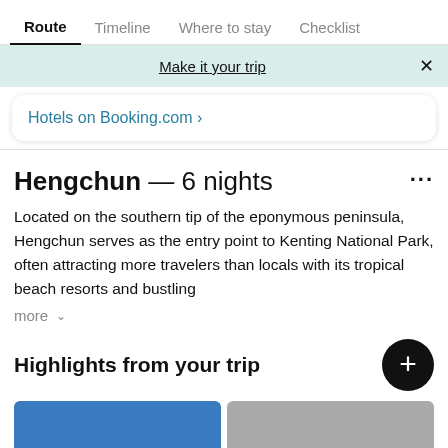Route	Timeline	Where to stay	Checklist
Make it your trip
Hotels on Booking.com ›
Hengchun — 6 nights
Located on the southern tip of the eponymous peninsula, Hengchun serves as the entry point to Kenting National Park, often attracting more travelers than locals with its tropical beach resorts and bustling
more ∨
Highlights from your trip
[Figure (photo): Two image thumbnails at the bottom of the page - one blue (left) and one grey (right)]